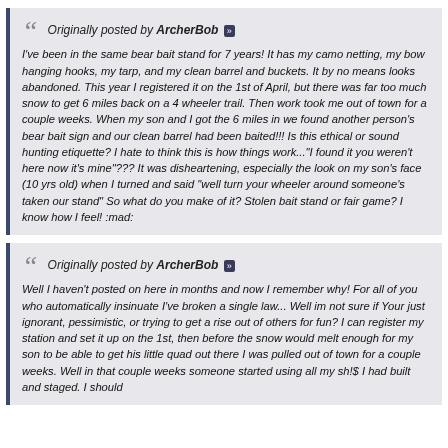Originally posted by ArcherBob [>>] I've been in the same bear bait stand for 7 years! It has my camo netting, my bow hanging hooks, my tarp, and my clean barrel and buckets. It by no means looks abandoned. This year I registered it on the 1st of April, but there was far too much snow to get 6 miles back on a 4 wheeler trail. Then work took me out of town for a couple weeks. When my son and I got the 6 miles in we found another person's bear bait sign and our clean barrel had been baited!!! Is this ethical or sound hunting etiquette? I hate to think this is how things work..."I found it you weren't here now it's mine"??? It was disheartening, especially the look on my son's face (10 yrs old) when I turned and said "well turn your wheeler around someone's taken our stand" So what do you make of it? Stolen bait stand or fair game? I know how I feel! :mad:
Originally posted by ArcherBob [>>] Well I haven't posted on here in months and now I remember why! For all of you who automatically insinuate I've broken a single law... Well im not sure if Your just ignorant, pessimistic, or trying to get a rise out of others for fun? I can register my station and set it up on the 1st, then before the snow would melt enough for my son to be able to get his little quad out there I was pulled out of town for a couple weeks. Well in that couple weeks someone started using all my sh!$ I had built and staged. I should